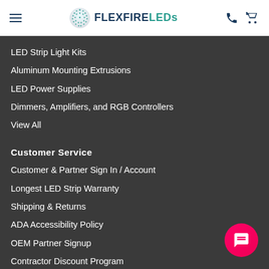FlexFire LEDs
LED Strip Light Kits
Aluminum Mounting Extrusions
LED Power Supplies
Dimmers, Amplifiers, and RGB Controllers
View All
Customer Service
Customer & Partner Sign In / Account
Longest LED Strip Warranty
Shipping & Returns
ADA Accessibility Policy
OEM Partner Signup
Contractor Discount Program
Customer Reviews